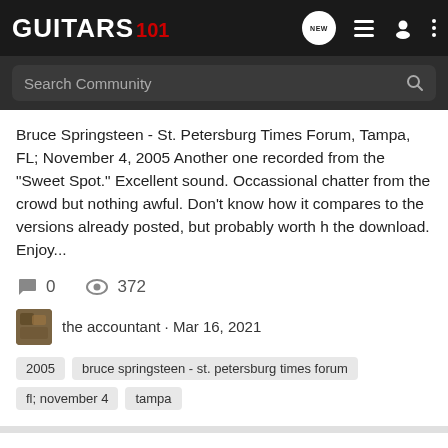GUITARS 101
Bruce Springsteen - St. Petersburg Times Forum, Tampa, FL; November 4, 2005 Another one recorded from the "Sweet Spot." Excellent sound. Occassional chatter from the crowd but nothing awful. Don't know how it compares to the versions already posted, but probably worth h the download. Enjoy...
0  372
the accountant · Mar 16, 2021
2005
bruce springsteen - st. petersburg times forum
fl; november 4
tampa
Bruce Springsteen - TD Banknorth Garden, Boston, MA; October 28, 2005